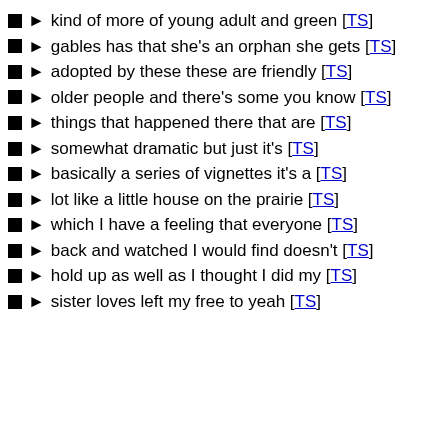kind of more of young adult and green [TS]
gables has that she's an orphan she gets [TS]
adopted by these these are friendly [TS]
older people and there's some you know [TS]
things that happened there that are [TS]
somewhat dramatic but just it's [TS]
basically a series of vignettes it's a [TS]
lot like a little house on the prairie [TS]
which I have a feeling that everyone [TS]
back and watched I would find doesn't [TS]
hold up as well as I thought I did my [TS]
sister loves left my free to yeah [TS]